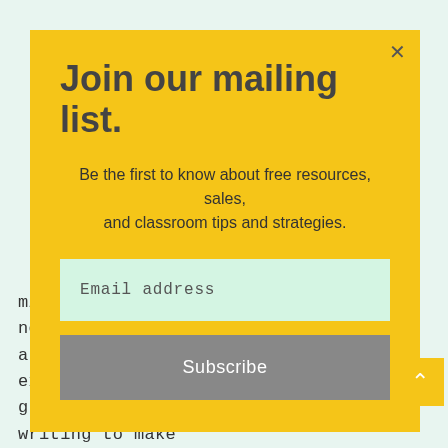lol. So allow me to reword this.... Thanks for the meal!! But yeah, thanx for spending time to talk about this topic here on your site. 🔲🔲🔲🔲
Join our mailing list.
Be the first to know about free resources, sales, and classroom tips and strategies.
Email address
Subscribe
millions of individuals are really needing to know about. Our own sincere regret for not expressing gratitude to you sooner. I'm also writing to make